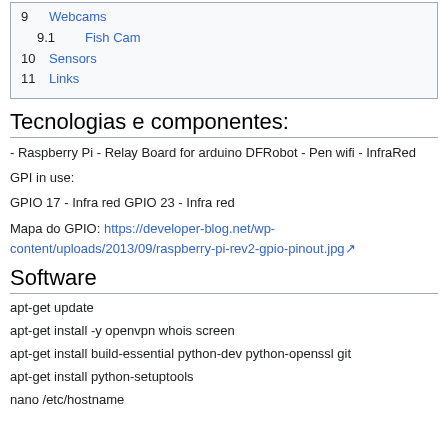9  Webcams
9.1  Fish Cam
10  Sensors
11  Links
Tecnologias e componentes:
- Raspberry Pi - Relay Board for arduino DFRobot - Pen wifi - InfraRed
GPI in use:
GPIO 17 - Infra red GPIO 23 - Infra red
Mapa do GPIO: https://developer-blog.net/wp-content/uploads/2013/09/raspberry-pi-rev2-gpio-pinout.jpg
Software
apt-get update
apt-get install -y openvpn whois screen
apt-get install build-essential python-dev python-openssl git
apt-get install python-setuptools
nano /etc/hostname